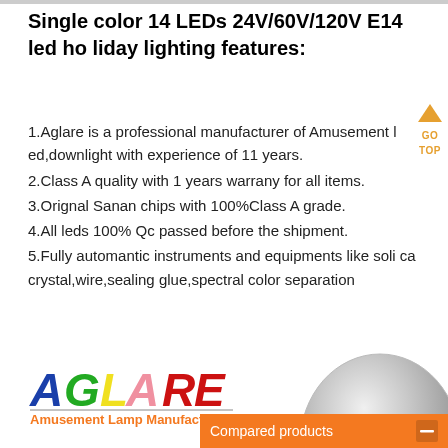Single color 14 LEDs 24V/60V/120V E14 led holiday lighting features:
1.Aglare is a professional manufacturer of Amusement led,downlight with experience of 11 years.
2.Class A quality with 1 years warrany for all items.
3.Orignal Sanan chips with 100%Class A grade.
4.All leds 100% Qc passed before the shipment.
5.Fully automantic instruments and equipments like solica crystal,wire,sealing glue,spectral color separation
[Figure (logo): AGLARE logo with colorful letters and text 'Amusement Lamp Manufacturer' below in orange]
[Figure (photo): Partial view of a silver/metallic LED bulb product]
Compared products